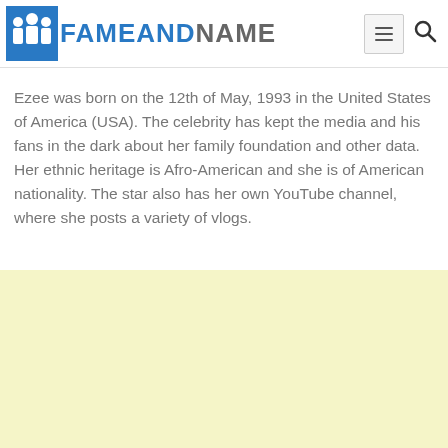FameAndName
Ezee was born on the 12th of May, 1993 in the United States of America (USA). The celebrity has kept the media and his fans in the dark about her family foundation and other data. Her ethnic heritage is Afro-American and she is of American nationality. The star also has her own YouTube channel, where she posts a variety of vlogs.
[Figure (other): Advertisement block with light yellow background]